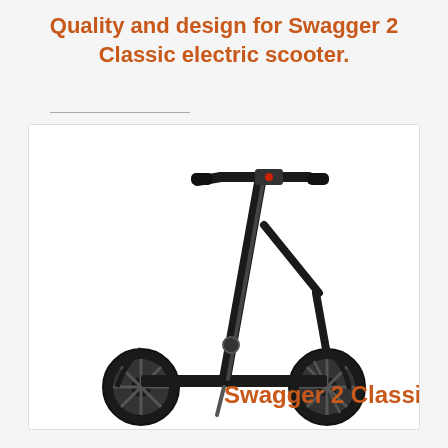Quality and design for Swagger 2 Classic electric scooter.
[Figure (photo): Black Swagtron Swagger 2 Classic electric kick scooter shown in profile view against white background, with two wheels, folding stem, and handlebars. Text 'Swagger 2 Classic' in orange overlaid on image.]